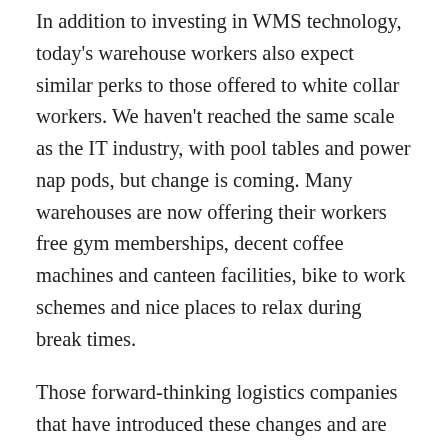In addition to investing in WMS technology, today's warehouse workers also expect similar perks to those offered to white collar workers. We haven't reached the same scale as the IT industry, with pool tables and power nap pods, but change is coming. Many warehouses are now offering their workers free gym memberships, decent coffee machines and canteen facilities, bike to work schemes and nice places to relax during break times.
Those forward-thinking logistics companies that have introduced these changes and are now seeing early rewards in the form of improved employee loyalty. For instance, Prologis have described this change in mindset by highlighting that the traditional 7 R's of logistics – right product in the right place, at the right time, delivered to the right person in the right condition within the right timeframe and for the right cost, also has a new 8th R. Now there